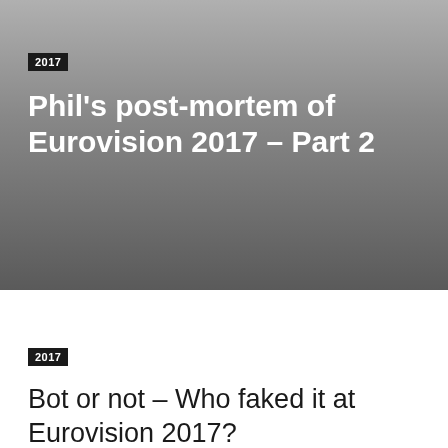[Figure (other): Dark gradient banner background for blog post header]
2017
Phil's post-mortem of Eurovision 2017 – Part 2
2017
Bot or not – Who faked it at Eurovision 2017?